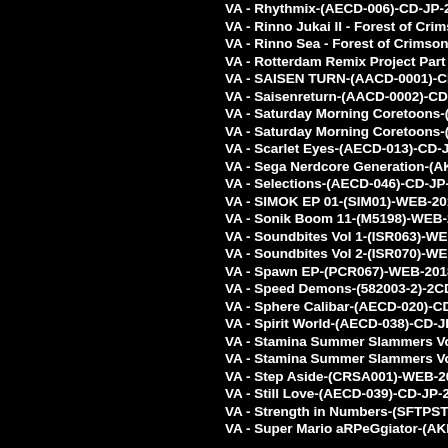VA - Rhythmix-(AECD-006)-CD-JP-2007-PUT
VA - Rinno Jukai II - Forest of Crimson 2--(AB
VA - Rinno Sea - Forest of Crimson --(AECD-0
VA - Rotterdam Remix Project Part 2-(RC003
VA - SAISEN TURN-(AACD-0001)-CD-JP-20
VA - Saisenreturn-(AACD-0002)-CD-JP-2011-
VA - Saturday Morning Coretoons-(AKCD-00
VA - Saturday Morning Coretoons-(AKCD-00
VA - Scarlet Eyes-(AECD-013)-CD-JP-2008-PU
VA - Sega Nerdcore Generation-(AKND-01)-C
VA - Selections-(AECD-046)-CD-JP-2017-PUT
VA - SIMOK EP 01-(SIM01)-WEB-2015-VELO
VA - Sonik Boom 11-(M5198)-WEB-2012-PUT
VA - Soundbites Vol 1-(ISR063)-WEB-2006-VI
VA - Soundbites Vol 2-(ISR070)-WEB-2007-VI
VA - Spawn EP-(PCR067)-WEB-2018-PUTA
VA - Speed Demons-(582003-2)-2CD-1997-BC
VA - Sphere Calibar-(AECD-020)-CD-JP-2009
VA - Spirit World-(AECD-038)-CD-JP-2013-P
VA - Stamina Summer Slammers Vol. 1-(STMI
VA - Stamina Summer Slammers Vol. 3-(STMI
VA - Step Aside-(CRSA001)-WEB-2016-VELO
VA - Still Love-(AECD-039)-CD-JP-2013-PUT
VA - Strength in Numbers-(SFTPSTM001)-3C
VA - Super Mario aRPeGgiator-(AKDIGI-02)-